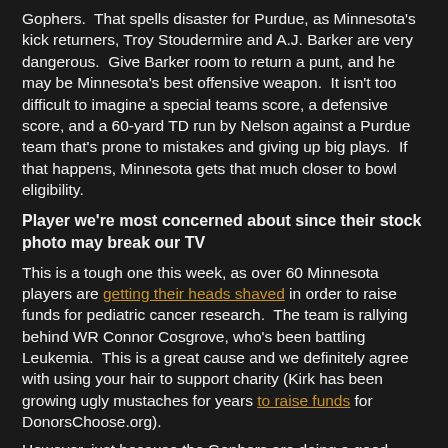Gophers.  That spells disaster for Purdue, as Minnesota's kick returners, Troy Stoudermire and A.J. Barker are very dangerous.  Give Barker room to return a punt, and he may be Minnesota's best offensive weapon.  It isn't too difficult to imagine a special teams score, a defensive score, and a 60-yard TD run by Nelson against a Purdue team that's prone to mistakes and giving up big plays.  If that happens, Minnesota gets that much closer to bowl eligibility.
Player we're most concerned about since their stock photo may break our TV
This is a tough one this week, as over 60 Minnesota players are getting their heads shaved in order to raise funds for pediatric cancer research.  The team is rallying behind WR Connor Cosgrove, who's been battling Leukemia.  This is a great cause and we definitely agree with using your hair to support charity (Kirk has been growing ugly mustaches for years to raise funds for DonorsChoose.org).
However, just because the Gophers are doing a good thing doesn't mean a stock photo isn't cringe-worthy.  We're